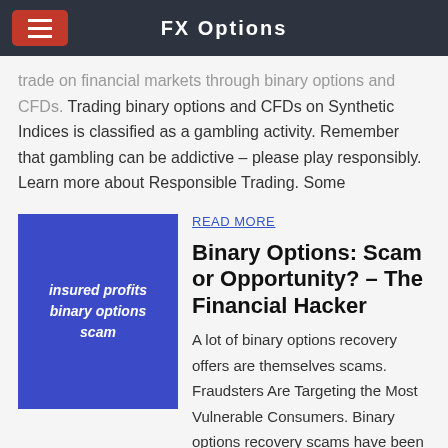FX Options
trade on financial markets through binary options and CFDs. Trading binary options and CFDs on Synthetic Indices is classified as a gambling activity. Remember that gambling can be addictive – please play responsibly. Learn more about Responsible Trading. Some
[Figure (illustration): Blue square image with white italic bold text reading: insured profits binary options scam]
READ MORE
Binary Options: Scam or Opportunity? – The Financial Hacker
A lot of binary options recovery offers are themselves scams. Fraudsters Are Targeting the Most Vulnerable Consumers. Binary options recovery scams have been cropping up all over the globe. Scammers know that consumers who have lost money to